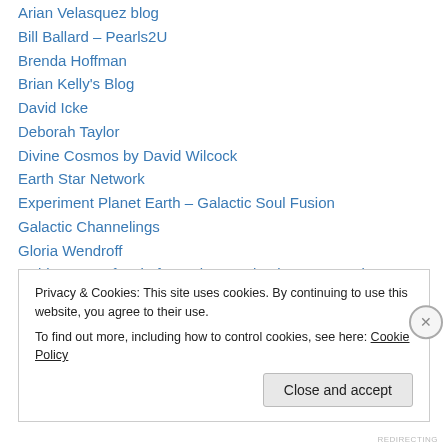Arian Velasquez blog
Bill Ballard – Pearls2U
Brenda Hoffman
Brian Kelly's Blog
David Icke
Deborah Taylor
Divine Cosmos by David Wilcock
Earth Star Network
Experiment Planet Earth – Galactic Soul Fusion
Galactic Channelings
Gloria Wendroff
Golden Age Of Gaia formerly Stevebeckow.com and The2012scenario.com by Steve Beckow
Heather's I AM website
Privacy & Cookies: This site uses cookies. By continuing to use this website, you agree to their use. To find out more, including how to control cookies, see here: Cookie Policy
Close and accept